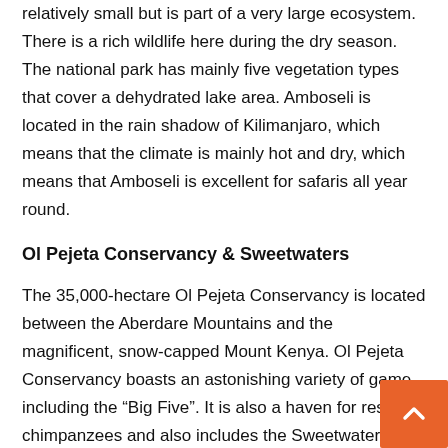relatively small but is part of a very large ecosystem. There is a rich wildlife here during the dry season. The national park has mainly five vegetation types that cover a dehydrated lake area. Amboseli is located in the rain shadow of Kilimanjaro, which means that the climate is mainly hot and dry, which means that Amboseli is excellent for safaris all year round.
Ol Pejeta Conservancy & Sweetwaters
The 35,000-hectare Ol Pejeta Conservancy is located between the Aberdare Mountains and the magnificent, snow-capped Mount Kenya. Ol Pejeta Conservancy boasts an astonishing variety of game including the “Big Five”. It is also a haven for rescued chimpanzees and also includes the Sweetwaters Game Reserve. The combination of amazing nature and fantastic views over